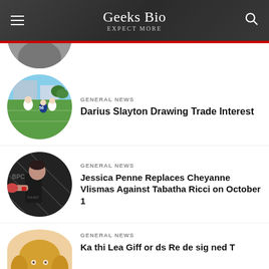Geeks Bio
Expect More
[Figure (photo): Partial circular photo of a person at top of page, cropped]
GENERAL NEWS
Darius Slayton Drawing Trade Interest
[Figure (photo): Circular photo of NFL football practice field with players in blue and white uniforms]
GENERAL NEWS
Jessica Penne Replaces Cheyanne Vlismas Against Tabatha Ricci on October 1
[Figure (photo): Circular photo of female MMA fighter in action wearing BPC gear]
GENERAL NEWS
[Figure (photo): Partial circular photo of a blonde woman celebrity, cropped at bottom]